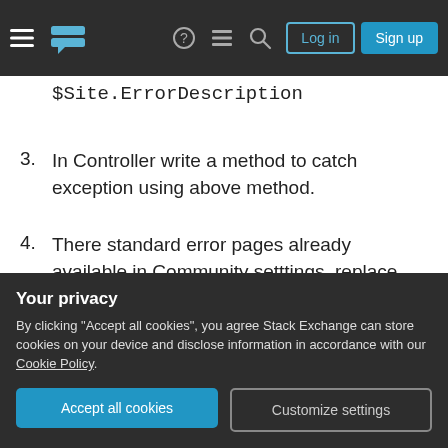Stack Exchange navigation bar with logo, hamburger menu, search, help, chat icons, Log in and Sign up buttons
$Site.ErrorDescription
3. In Controller write a method to catch exception using above method.
4. There standard error pages already available in Community setttings, replace these VF pages in Community settings with custom VF page for error message. For more details please refer https://help.salesforce.com/articleView?id=sites_error_pages.htm&type=0 for replacing standard error pages. That's it, now whenever
Your privacy
By clicking "Accept all cookies", you agree Stack Exchange can store cookies on your device and disclose information in accordance with our Cookie Policy.
Accept all cookies
Customize settings